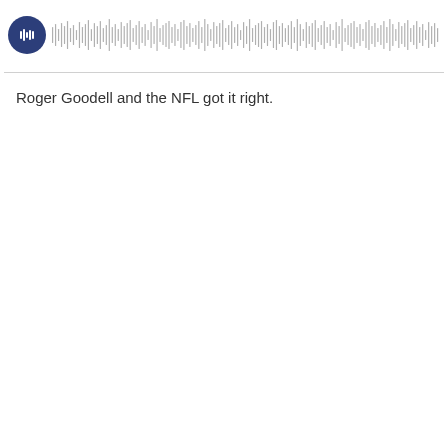[Figure (other): Audio player widget with dark blue circular play button and waveform visualization]
Roger Goodell and the NFL got it right.